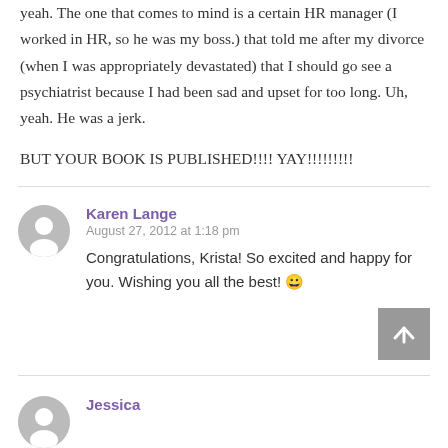yeah. The one that comes to mind is a certain HR manager (I worked in HR, so he was my boss.) that told me after my divorce (when I was appropriately devastated) that I should go see a psychiatrist because I had been sad and upset for too long. Uh, yeah. He was a jerk.
BUT YOUR BOOK IS PUBLISHED!!!! YAY!!!!!!!!!
Karen Lange
August 27, 2012 at 1:18 pm
Congratulations, Krista! So excited and happy for you. Wishing you all the best! 😀
Jessica